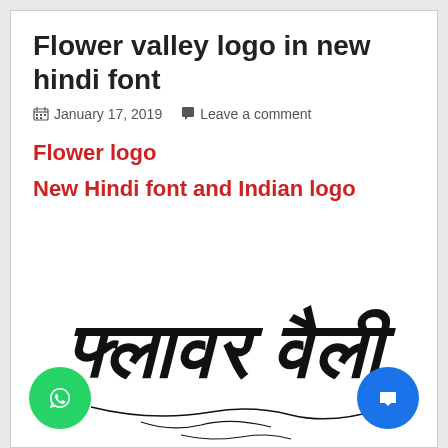Flower valley logo in new hindi font
January 17, 2019  Leave a comment
Flower logo
New Hindi font and Indian logo
[Figure (illustration): Stylized Hindi calligraphy text reading 'Flower Valley' (फ्लावर वैली) in decorative black Devanagari script with ornamental flourishes]